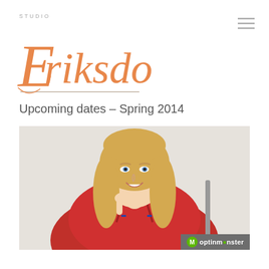STUDIO Eriksdotter
Upcoming dates – Spring 2014
[Figure (photo): Smiling blonde woman in a red jacket seated, resting her chin on her hand, photographed against a light background]
optinmonster